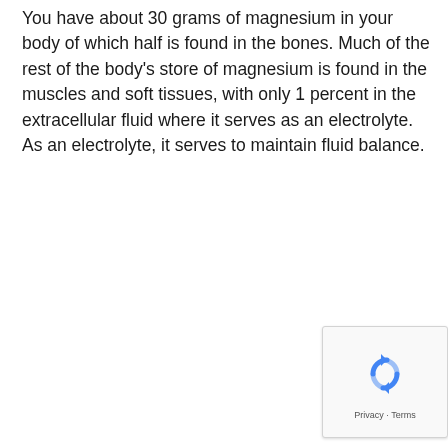You have about 30 grams of magnesium in your body of which half is found in the bones. Much of the rest of the body's store of magnesium is found in the muscles and soft tissues, with only 1 percent in the extracellular fluid where it serves as an electrolyte. As an electrolyte, it serves to maintain fluid balance.
[Figure (other): reCAPTCHA privacy badge with circular arrow icon and 'Privacy · Terms' text]